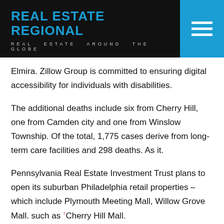REAL ESTATE REGIONAL
REAL ESTATE AROUND THE GLOBE
Elmira. Zillow Group is committed to ensuring digital accessibility for individuals with disabilities.
The additional deaths include six from Cherry Hill, one from Camden city and one from Winslow Township. Of the total, 1,775 cases derive from long-term care facilities and 298 deaths. As it.
Pennsylvania Real Estate Investment Trust plans to open its suburban Philadelphia retail properties – which include Plymouth Meeting Mall, Willow Grove Mall. such as Cherry Hill Mall.